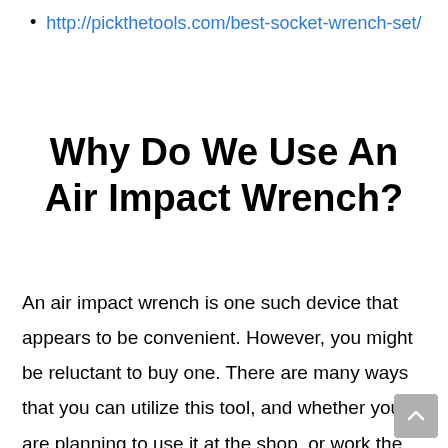http://pickthetools.com/best-socket-wrench-set/
Why Do We Use An Air Impact Wrench?
An air impact wrench is one such device that appears to be convenient. However, you might be reluctant to buy one. There are many ways that you can utilize this tool, and whether you are planning to use it at the shop, or work the variety available can help you complete tasks efficiently